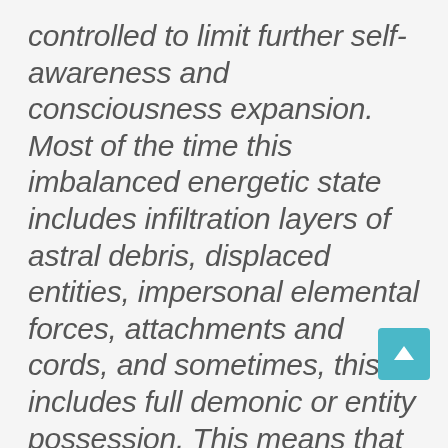controlled to limit further self-awareness and consciousness expansion. Most of the time this imbalanced energetic state includes infiltration layers of astral debris, displaced entities, impersonal elemental forces, attachments and cords, and sometimes, this includes full demonic or entity possession. This means that the person is not alone in their energetic aura, their personal energetic body or aura has infiltrations, dark portals or attachments with other disembodied entities that should not be attached into their energy field. Having extradimensional entities and other spiritual-energetic phenomena attached